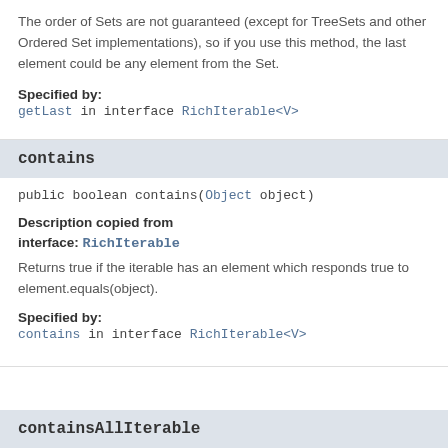The order of Sets are not guaranteed (except for TreeSets and other Ordered Set implementations), so if you use this method, the last element could be any element from the Set.
Specified by:
getLast in interface RichIterable<V>
contains
public boolean contains(Object object)
Description copied from interface: RichIterable
Returns true if the iterable has an element which responds true to element.equals(object).
Specified by:
contains in interface RichIterable<V>
containsAllIterable